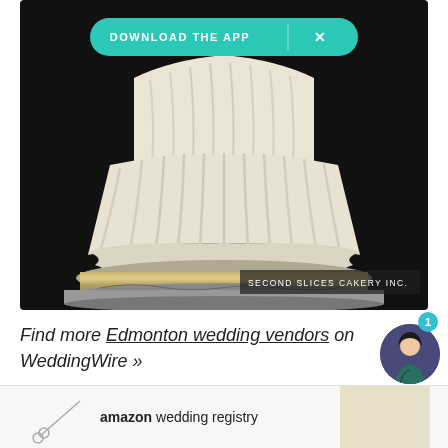[Figure (photo): A close-up photo of a white wedding cake with draped fondant decoration on a silver cake stand, against a dark background. The photo has a 'DOWNLOAD THE APP' teal banner button overlaid at the top, and a 'SECOND SLICES CAKERY INC.' credit label at the bottom right.]
Find more Edmonton wedding vendors on WeddingWire »
[Figure (screenshot): Partial view of an Amazon wedding registry advertisement strip at the bottom of the page, with a small decorative image and the text 'amazon wedding registry'. A chat widget with a character avatar and a badge showing '1' is overlaid at the bottom right.]